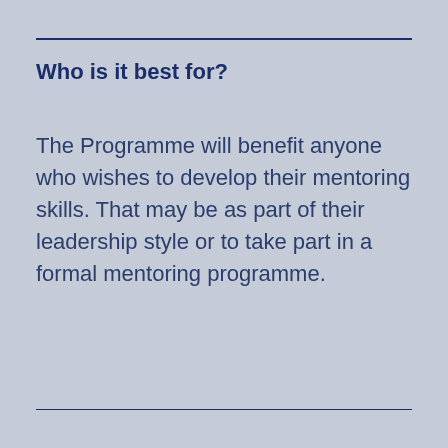Who is it best for?
The Programme will benefit anyone who wishes to develop their mentoring skills. That may be as part of their leadership style or to take part in a formal mentoring programme.